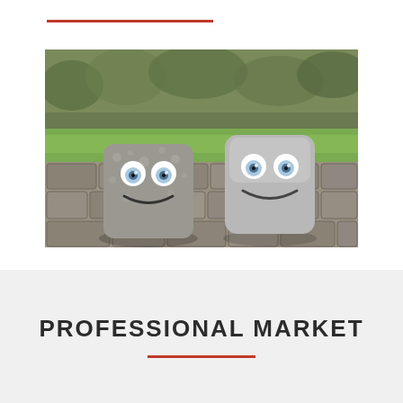[Figure (photo): Two animated stone/metal block characters with cartoon eyes and smiling mouths, sitting on a cobblestone patio with green grass and bushes in the background. The left block is rough and weathered, the right is smooth and metallic.]
PROFESSIONAL MARKET